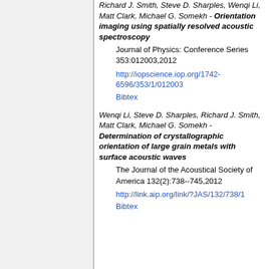Richard J. Smith, Steve D. Sharples, Wenqi Li, Matt Clark, Michael G. Somekh - Orientation imaging using spatially resolved acoustic spectroscopy. Journal of Physics: Conference Series 353:012003,2012. http://iopscience.iop.org/1742-6596/353/1/012003. Bibtex
Wenqi Li, Steve D. Sharples, Richard J. Smith, Matt Clark, Michael G. Somekh - Determination of crystallographic orientation of large grain metals with surface acoustic waves. The Journal of the Acoustical Society of America 132(2):738--745,2012. http://link.aip.org/link/?JAS/132/738/1. Bibtex